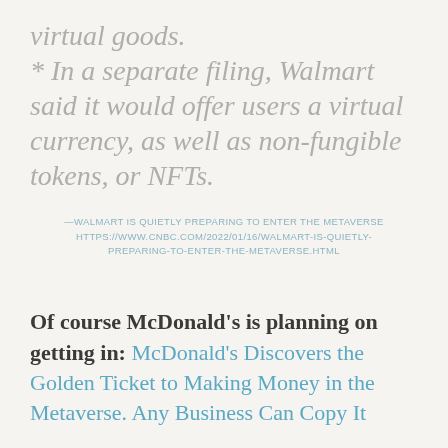virtual goods. * In a separate filing, Walmart said it would offer users a virtual currency, as well as non-fungible tokens, or NFTs.
—WALMART IS QUIETLY PREPARING TO ENTER THE METAVERSE HTTPS://WWW.CNBC.COM/2022/01/16/WALMART-IS-QUIETLY-PREPARING-TO-ENTER-THE-METAVERSE.HTML
Of course McDonald's is planning on getting in: McDonald's Discovers the Golden Ticket to Making Money in the Metaverse. Any Business Can Copy It